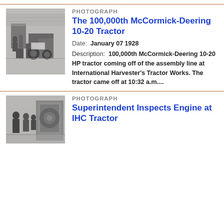[Figure (photo): Black and white photograph of the 100,000th McCormick-Deering 10-20 tractor coming off the assembly line]
PHOTOGRAPH
The 100,000th McCormick-Deering 10-20 Tractor
Date: January 07 1928
Description: 100,000th McCormick-Deering 10-20 HP tractor coming off of the assembly line at International Harvester's Tractor Works. The tractor came off at 10:32 a.m....
[Figure (photo): Black and white photograph related to Superintendent Inspects Engine at IHC Tractor]
PHOTOGRAPH
Superintendent Inspects Engine at IHC Tractor